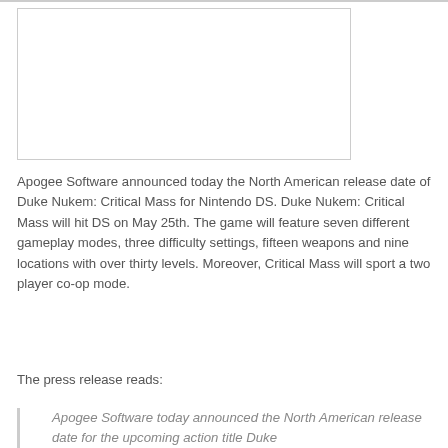[Figure (other): Empty white rectangle with light gray border, likely a placeholder image for Duke Nukem: Critical Mass for Nintendo DS]
Apogee Software announced today the North American release date of Duke Nukem: Critical Mass for Nintendo DS. Duke Nukem: Critical Mass will hit DS on May 25th. The game will feature seven different gameplay modes, three difficulty settings, fifteen weapons and nine locations with over thirty levels. Moreover, Critical Mass will sport a two player co-op mode.
The press release reads:
Apogee Software today announced the North American release date for the upcoming action title Duke...